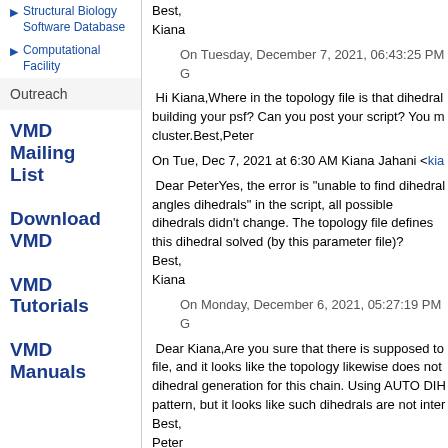Structural Biology Software Database
Computational Facility
Outreach
VMD Mailing List
Download VMD
VMD Tutorials
VMD Manuals
Best,
Kiana
On Tuesday, December 7, 2021, 06:43:25 PM G
Hi Kiana,Where in the topology file is that dihedral building your psf? Can you post your script? You m cluster.Best,Peter
On Tue, Dec 7, 2021 at 6:30 AM Kiana Jahani <kia
Dear PeterYes, the error is "unable to find dihedral angles dihedrals" in the script, all possible dihedrals didn't change. The topology file defines this dihedral solved (by this parameter file)?
Best,
Kiana
On Monday, December 6, 2021, 05:27:19 PM G
Dear Kiana,Are you sure that there is supposed to file, and it looks like the topology likewise does not dihedral generation for this chain. Using AUTO DIH pattern, but it looks like such dihedrals are not inter Best,
Peter
On Mon, Dec 6, 2021 at 3:20 AM Kiana Jahani <kia
Dear Peter,
Thank you so much for your reply. I used the topo